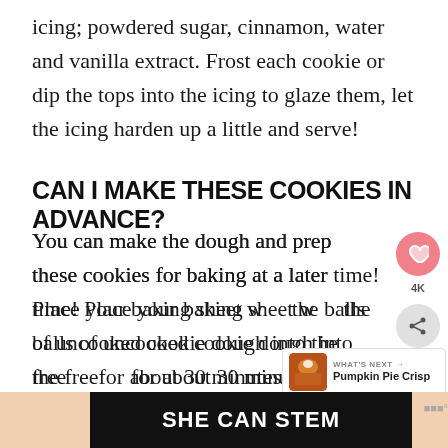icing; powdered sugar, cinnamon, water and vanilla extract. Frost each cookie or dip the tops into the icing to glaze them, let the icing harden up a little and serve!
CAN I MAKE THESE COOKIES IN ADVANCE?
You can make the dough and prep these cookies for baking at a later time! Place your baking sheet with the balls of uncooked cookie dough into the freezer for about 30 minutes, and then store the cookie dough balls in an airtight container. They'll be ready to bake at any time, just add a minute or two to baking time!
[Figure (screenshot): UI overlay showing heart button, 4K badge, share button, and a 'What's Next' card showing Pumpkin Pie Crisp]
[Figure (screenshot): Dark banner with text 'SHE CAN STEM' on black background]